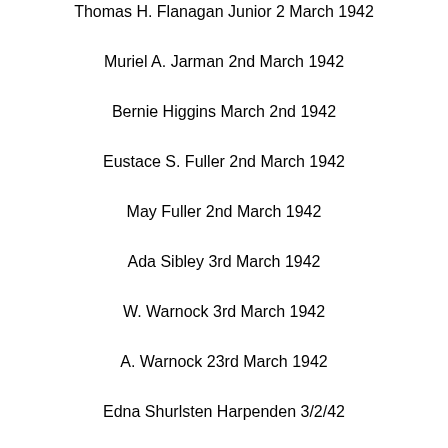Thomas H. Flanagan Junior 2 March 1942
Muriel A. Jarman 2nd March 1942
Bernie Higgins March 2nd 1942
Eustace S. Fuller 2nd March 1942
May Fuller 2nd March 1942
Ada Sibley 3rd March 1942
W. Warnock 3rd March 1942
A. Warnock 23rd March 1942
Edna Shurlsten Harpenden 3/2/42